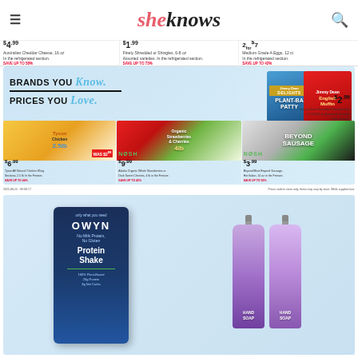sheknows
[Figure (infographic): Grocery store advertisement showing price strip with Australian Cheddar Cheese $4.99 save up to 58%, Finely Shredded or Shingles 6-8oz $1.99 save up to 73%, Medium Grade A Eggs 12ct 2 for $7 save up to 42%]
[Figure (infographic): Grocery advertisement banner: BRANDS YOU Know. PRICES YOU Love. Featuring Jimmy Dean Delights Plant-Based Patty and Jimmy Dean English Muffin sandwich at $2.99 save up to 66%, Tyson All Natural Chicken Wing Sections 2.5lb $6.99 save up to 44%, Alaska Organic Whole Strawberries or Dark Sweet Cherries 4lb $9.99 save up to 45%, Beyond Meat Beyond Sausage Hot Italian 14oz $3.99 save up to 50%]
Prices valid in store only. Items may vary by store. While supplies last.
[Figure (photo): OWYN Protein Shake product box - 100% Plant-Based, 20g Protein, 3g Net Carbs, alongside two purple Hand Soap bottles]